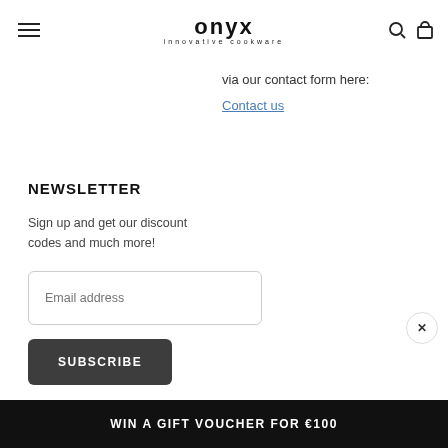onyx innovative cookware
via our contact form here:
Contact us
NEWSLETTER
Sign up and get our discount codes and much more!
Email address
SUBSCRIBE
WIN A GIFT VOUCHER FOR €100